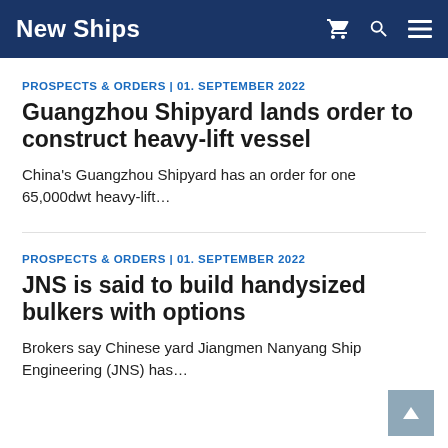New Ships
PROSPECTS & ORDERS | 01. SEPTEMBER 2022
Guangzhou Shipyard lands order to construct heavy-lift vessel
China's Guangzhou Shipyard has an order for one 65,000dwt heavy-lift…
PROSPECTS & ORDERS | 01. SEPTEMBER 2022
JNS is said to build handysized bulkers with options
Brokers say Chinese yard Jiangmen Nanyang Ship Engineering (JNS) has…